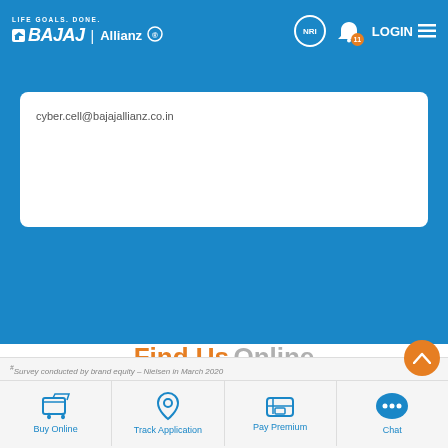LIFE GOALS. DONE. BAJAJ Allianz | NRI | LOGIN
cyber.cell@bajajallianz.co.in
Find Us Online
[Figure (illustration): Social media icons: Facebook, Twitter, LinkedIn, Instagram, YouTube]
#Survey conducted by brand equity – Nielsen in March 2020
Buy Online | Track Application | Pay Premium | Chat